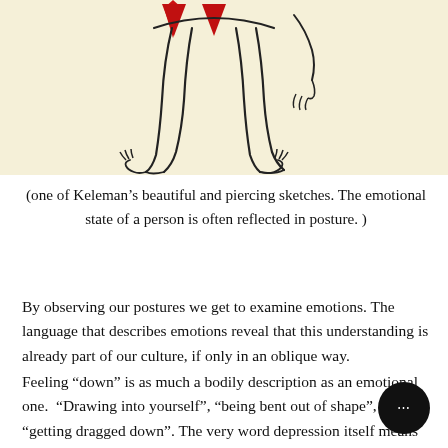[Figure (illustration): Line drawing of a human figure from the lower torso down, showing legs and feet. Two red downward-pointing arrows are visible at the upper portion of the figure, suggesting emotional 'downward' pressure or weight. The figure is drawn in a loose sketch style against a pale yellow-cream background.]
(one of Keleman's beautiful and piercing sketches. The emotional state of a person is often reflected in posture. )
By observing our postures we get to examine emotions. The language that describes emotions reveal that this understanding is already part of our culture, if only in an oblique way.
Feeling “down” is as much a bodily description as an emotional one.  “Drawing into yourself”, “being bent out of shape”, “getting dragged down”. The very word depression itself means something that is